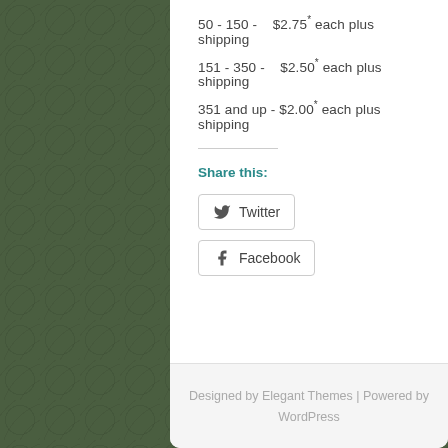50 - 150 - $2.75* each plus shipping
151 - 350 - $2.50* each plus shipping
351 and up - $2.00* each plus shipping
Share this:
[Figure (other): Twitter and Facebook share buttons]
Designed by Elegant Themes | Powered by WordPress